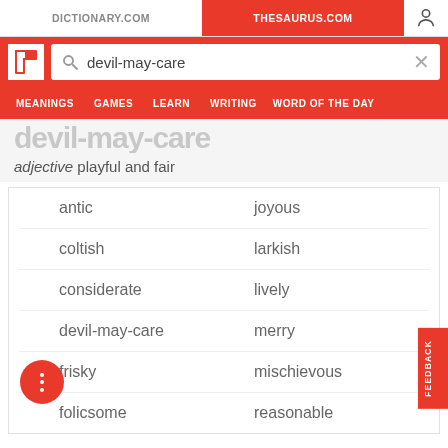DICTIONARY.COM | THESAURUS.COM
[Figure (screenshot): Thesaurus.com website header with logo, search bar containing 'devil-may-care', and navigation menu with MEANINGS, GAMES, LEARN, WRITING, WORD OF THE DAY]
adjective playful and fair
antic
joyous
coltish
larkish
considerate
lively
devil-may-care
merry
frisky
mischievous
folicsome
reasonable